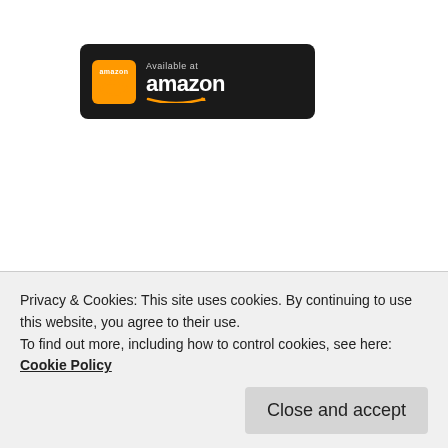[Figure (logo): Amazon Appstore badge — black rounded rectangle with orange globe icon and 'Available at amazon' text]
[Figure (logo): Google Play badge — black rounded rectangle with colorful Play triangle icon and 'ANDROID APP ON Google play' text]
HALLOWEEN & CHRISTMAS WORD SEARCH BUNDLE
[Figure (illustration): Word search game bundle logo — circular image split into dark Halloween and light Christmas halves with letter tiles spelling WORD]
Privacy & Cookies: This site uses cookies. By continuing to use this website, you agree to their use.
To find out more, including how to control cookies, see here: Cookie Policy
Close and accept